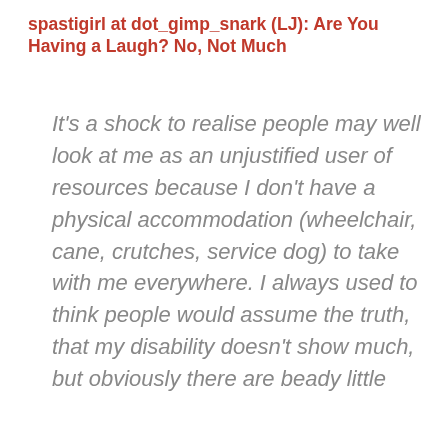spastigirl at dot_gimp_snark (LJ): Are You Having a Laugh? No, Not Much
It's a shock to realise people may well look at me as an unjustified user of resources because I don't have a physical accommodation (wheelchair, cane, crutches, service dog) to take with me everywhere. I always used to think people would assume the truth, that my disability doesn't show much, but obviously there are beady little